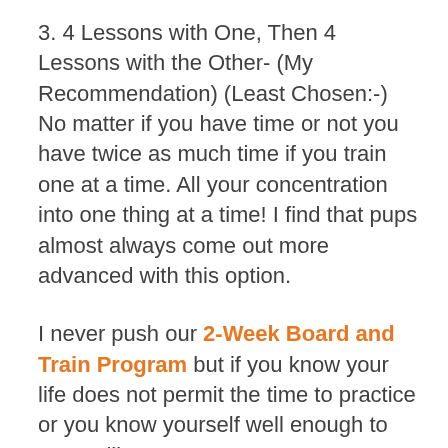3. 4 Lessons with One, Then 4 Lessons with the Other- (My Recommendation) (Least Chosen:-) No matter if you have time or not you have twice as much time if you train one at a time. All your concentration into one thing at a time! I find that pups almost always come out more advanced with this option.
I never push our 2-Week Board and Train Program but if you know your life does not permit the time to practice or you know yourself well enough to say I will